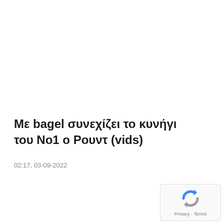Με bagel συνεχίζει το κυνήγι του Νο1 ο Ρουντ (vids)
02:17, 03-09-2022
[Figure (logo): Google reCAPTCHA widget bottom right corner with refresh icon and 'Privacy · Terms' text]